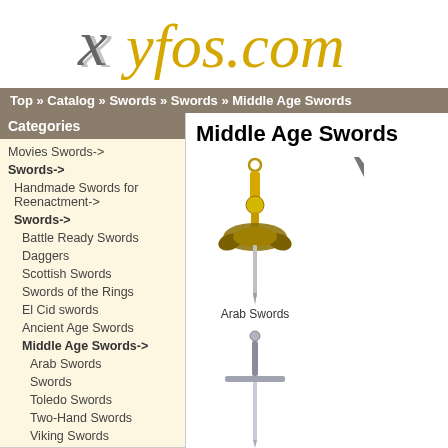[Figure (logo): Xyfos.com website logo in italic serif font, X in gray, yfos.com in gold/yellow]
Top » Catalog » Swords » Swords » Middle Age Swords
Categories
Movies Swords->
Swords->
Handmade Swords for Reenactment->
Swords->
Battle Ready Swords
Daggers
Scottish Swords
Swords of the Rings
El Cid swords
Ancient Age Swords
Middle Age Swords->
Arab Swords
Swords
Toledo Swords
Two-Hand Swords
Viking Swords
Middle Age Swords
[Figure (photo): Arab sword with gold/brass hilt and ornate guard]
Arab Swords
[Figure (photo): Two-hand sword with long blade and cross guard]
Two-Hand Swords